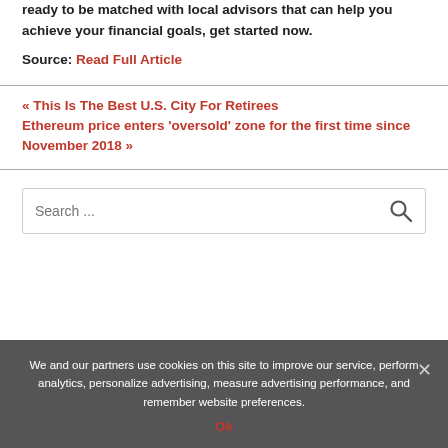ready to be matched with local advisors that can help you achieve your financial goals, get started now.
Source: Read Full Article
« This Is The Best U.S. City For Retirees
Ethereum price enters 'oversold' zone for the first time since November 2018 »
Search ...
We and our partners use cookies on this site to improve our service, perform analytics, personalize advertising, measure advertising performance, and remember website preferences.
Ok